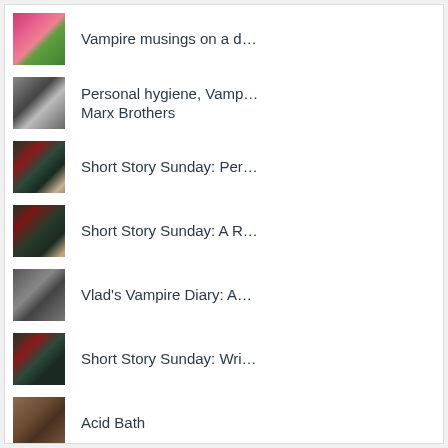Vampire musings on a d…
Personal hygiene, Vamp… Marx Brothers
Short Story Sunday: Per…
Short Story Sunday: A R…
Vlad's Vampire Diary: A…
Short Story Sunday: Wri…
Acid Bath